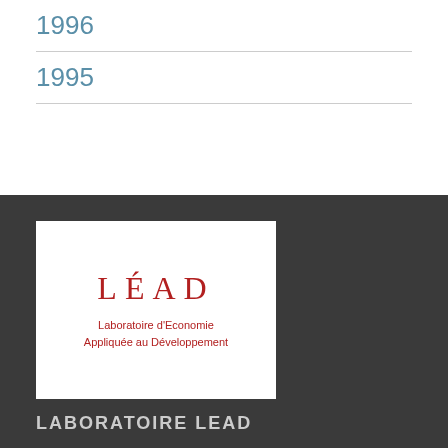1996
1995
[Figure (logo): LÉAD logo — Laboratoire d'Economie Appliquée au Développement, red text on white background]
LABORATOIRE LEAD